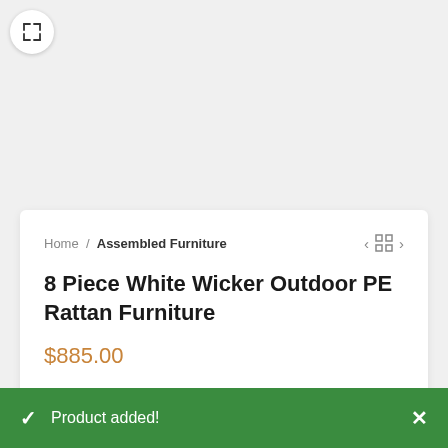[Figure (other): Expand/fullscreen button icon (arrows pointing outward) in a white circle]
Home / Assembled Furniture
8 Piece White Wicker Outdoor PE Rattan Furniture
$885.00
100% hand wicked with high quality UV weather
✓ Product added!